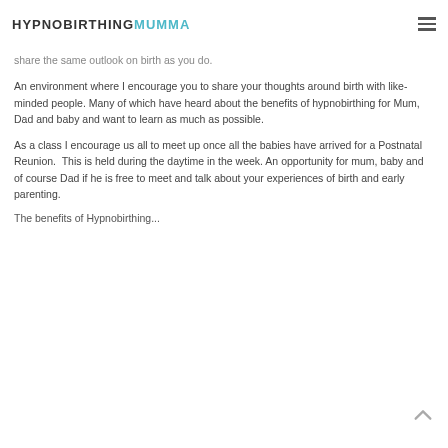HYPNOBIRTHINGMUMMA
share the same outlook on birth as you do.
An environment where I encourage you to share your thoughts around birth with like-minded people. Many of which have heard about the benefits of hypnobirthing for Mum, Dad and baby and want to learn as much as possible.
As a class I encourage us all to meet up once all the babies have arrived for a Postnatal Reunion.  This is held during the daytime in the week. An opportunity for mum, baby and of course Dad if he is free to meet and talk about your experiences of birth and early parenting.
The benefits of Hypnobirthing...